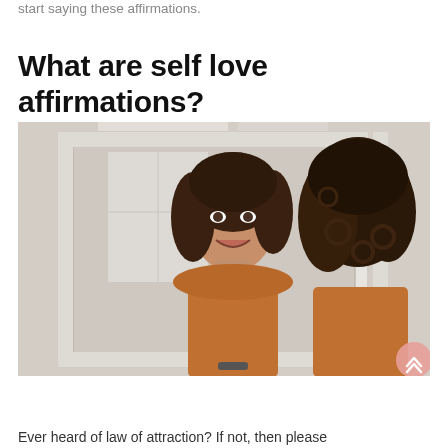start saying these affirmations.
What are self love affirmations?
[Figure (photo): A young woman with curly dark hair smiling at her reflection in a large ornate white-framed mirror. She is wearing an orange top and resting her chin on her hands. The setting appears to be a bright room with windows visible in the mirror reflection.]
Ever heard of law of attraction? If not, then please